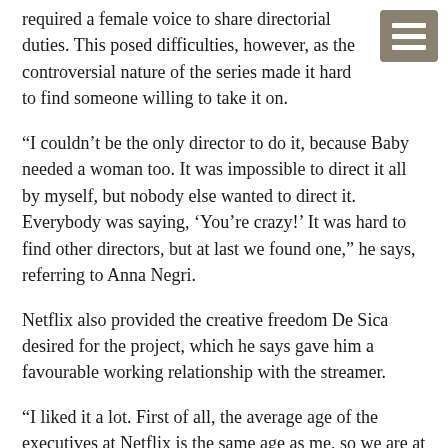required a female voice to share directorial duties. This posed difficulties, however, as the controversial nature of the series made it hard to find someone willing to take it on.
“I couldn’t be the only director to do it, because Baby needed a woman too. It was impossible to direct it all by myself, but nobody else wanted to direct it. Everybody was saying, ‘You’re crazy!’ It was hard to find other directors, but at last we found one,” he says, referring to Anna Negri.
Netflix also provided the creative freedom De Sica desired for the project, which he says gave him a favourable working relationship with the streamer.
“I liked it a lot. First of all, the average age of the executives at Netflix is the same age as me, so we are at the same point in our lives. The second thing is the executives really know where they want to go, but at the same time know they should give you some freedom,” he says.
“They don’t interfere much, so we had our own rules and methods. They let us build this huge experiment, which was